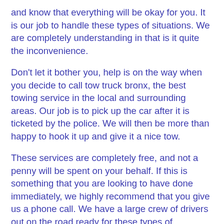and know that everything will be okay for you. It is our job to handle these types of situations. We are completely understanding in that is it quite the inconvenience.
Don't let it bother you, help is on the way when you decide to call tow truck bronx, the best towing service in the local and surrounding areas. Our job is to pick up the car after it is ticketed by the police. We will then be more than happy to hook it up and give it a nice tow.
These services are completely free, and not a penny will be spent on your behalf. If this is something that you are looking to have done immediately, we highly recommend that you give us a phone call. We have a large crew of drivers out on the road ready for these types of situations to occur. We are able to answer all fo your questions conveniently and efficiently.